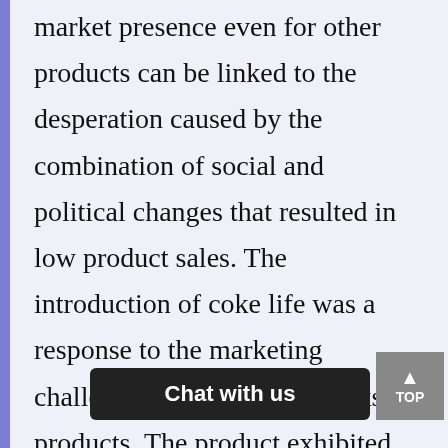market presence even for other products can be linked to the desperation caused by the combination of social and political changes that resulted in low product sales. The introduction of coke life was a response to the marketing challenges for other soft drinks products. The product exhibited sugar-free characteristics and was aimed at occupying the market segment targeting individuals that do not co[nsumed sug]den [sugar bur]